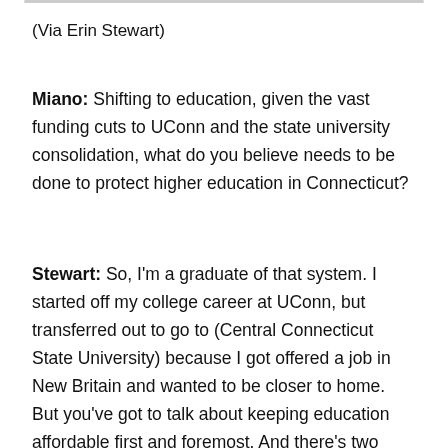(Via Erin Stewart)
Miano: Shifting to education, given the vast funding cuts to UConn and the state university consolidation, what do you believe needs to be done to protect higher education in Connecticut?
Stewart: So, I'm a graduate of that system. I started off my college career at UConn, but transferred out to go to (Central Connecticut State University) because I got offered a job in New Britain and wanted to be closer to home. But you've got to talk about keeping education affordable first and foremost. And there's two sides to every coin here and sometimes you have to make consolidations in order to continue to provide a service. But you also have to make sure that the students that you want to attend your university